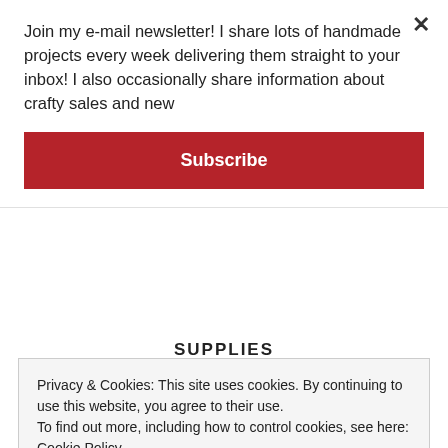Join my e-mail newsletter! I share lots of handmade projects every week delivering them straight to your inbox! I also occasionally share information about crafty sales and new
Subscribe
Marci Snee
Nichol Spohr
Sandy Allnock
Sara Torzullo
Traci Jenkins
SUPPLIES
Privacy & Cookies: This site uses cookies. By continuing to use this website, you agree to their use.
To find out more, including how to control cookies, see here: Cookie Policy
Close and accept
your support!